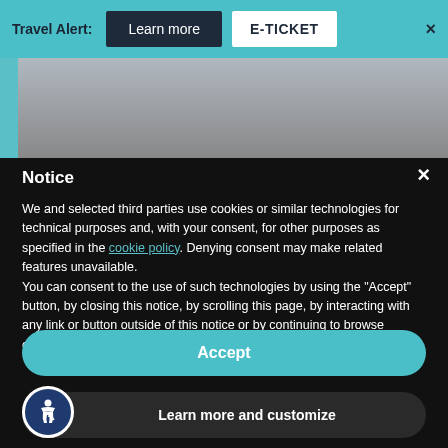Travel Alert:  Learn more  E-TICKET  ×
[Figure (photo): Strip of photos showing people in white clothing outdoors]
Notice
We and selected third parties use cookies or similar technologies for technical purposes and, with your consent, for other purposes as specified in the cookie policy. Denying consent may make related features unavailable.
You can consent to the use of such technologies by using the "Accept" button, by closing this notice, by scrolling this page, by interacting with any link or button outside of this notice or by continuing to browse otherwise.
Accept
Learn more and customize